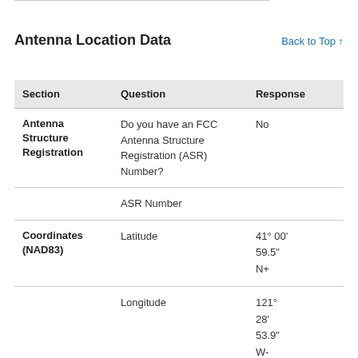Antenna Location Data
Back to Top ↑
| Section | Question | Response |
| --- | --- | --- |
| Antenna Structure Registration | Do you have an FCC Antenna Structure Registration (ASR) Number? | No |
|  | ASR Number |  |
| Coordinates (NAD83) | Latitude | 41° 00' 59.5" N+ |
|  | Longitude | 121° 28' 53.9" W- |